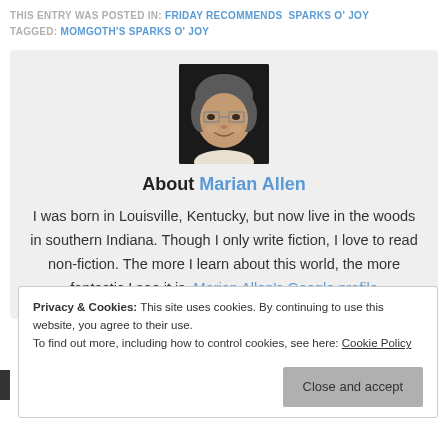THIS ENTRY WAS POSTED IN: FRIDAY RECOMMENDS  SPARKS O' JOY
TAGGED: MOMGOTH'S SPARKS O' JOY
[Figure (photo): Portrait photo of Marian Allen, a woman with short gray hair and glasses, smiling, wearing a light-colored top, against a dark background.]
About Marian Allen
I was born in Louisville, Kentucky, but now live in the woods in southern Indiana. Though I only write fiction, I love to read non-fiction. The more I learn about this world, the more fantastic I see it is. Marian Allen's Google profile
Privacy & Cookies: This site uses cookies. By continuing to use this website, you agree to their use.
To find out more, including how to control cookies, see here: Cookie Policy
Close and accept